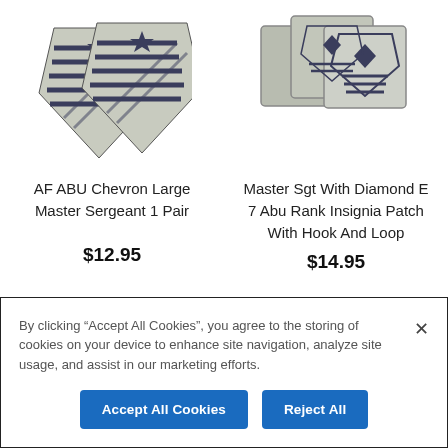[Figure (photo): AF ABU Chevron Large Master Sergeant 1 Pair - military rank insignia chevron patches, two overlapping chevrons with star and stripes]
[Figure (photo): Master Sgt With Diamond E 7 Abu Rank Insignia Patch With Hook And Loop - three square fabric patches with diamond insignia]
AF ABU Chevron Large Master Sergeant 1 Pair
Master Sgt With Diamond E 7 Abu Rank Insignia Patch With Hook And Loop
$12.95
$14.95
By clicking “Accept All Cookies”, you agree to the storing of cookies on your device to enhance site navigation, analyze site usage, and assist in our marketing efforts.
Accept All Cookies
Reject All